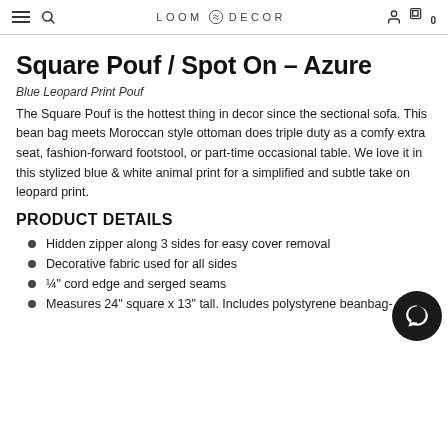LOOM DECOR
Square Pouf / Spot On – Azure
Blue Leopard Print Pouf
The Square Pouf is the hottest thing in decor since the sectional sofa. This bean bag meets Moroccan style ottoman does triple duty as a comfy extra seat, fashion-forward footstool, or part-time occasional table. We love it in this stylized blue & white animal print for a simplified and subtle take on leopard print.
PRODUCT DETAILS
Hidden zipper along 3 sides for easy cover removal
Decorative fabric used for all sides
¼" cord edge and serged seams
Measures 24" square x 13" tall. Includes polystyrene beanbag-